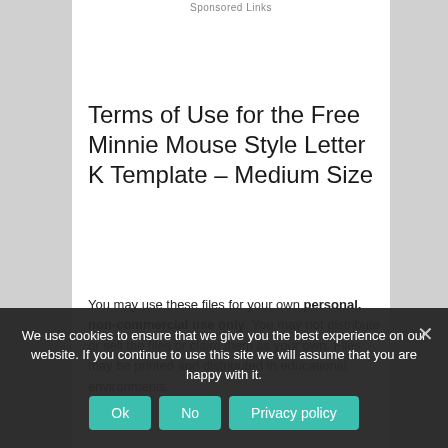Sponsored Links
Terms of Use for the Free Minnie Mouse Style Letter K Template – Medium Size
You may use these files for your own personal, non-commercial use only. You may not distribute or sell the files or claim them as your own. Files may be printed and distributed in educational environments.
a friend, please send them directly to this page so that they can download a copy for themselves. Please do not link directly to the
We use cookies to ensure that we give you the best experience on our website. If you continue to use this site we will assume that you are happy with it.